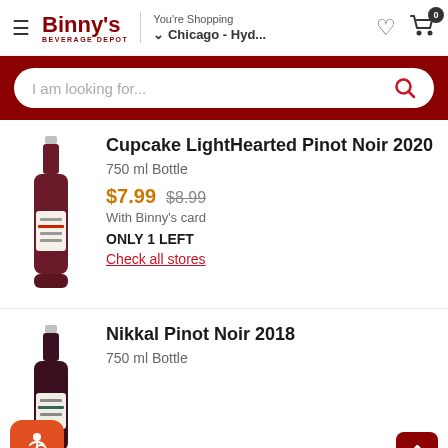Binny's Beverage Depot — You're Shopping Chicago - Hyd...
I am looking for...
[Figure (photo): Wine bottle for Cupcake LightHearted Pinot Noir 2020]
Cupcake LightHearted Pinot Noir 2020
750 ml Bottle
$7.99  $8.99
With Binny's card
ONLY 1 LEFT
Check all stores
[Figure (photo): Wine bottle for Nikkal Pinot Noir 2018]
Nikkal Pinot Noir 2018
750 ml Bottle